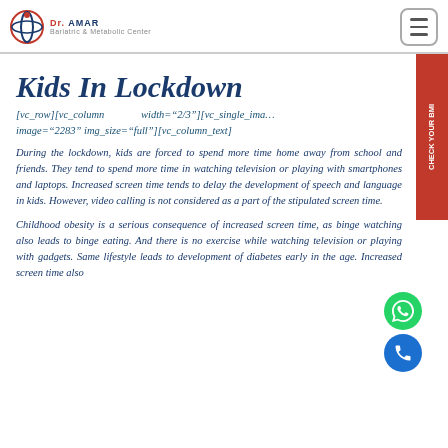Dr. AMAR Bariatric & Metabolic Center
Kids In Lockdown
[vc_row][vc_column width="2/3"][vc_single_image image="2283" img_size="full"][vc_column_text]
During the lockdown, kids are forced to spend more time home away from school and friends. They tend to spend more time in watching television or playing with smartphones and laptops. Increased screen time tends to delay the development of speech and language in kids. However, video calling is not considered as a part of the stipulated screen time.
Childhood obesity is a serious consequence of increased screen time, as binge watching also leads to binge eating. And there is no exercise while watching television or playing with gadgets. Same lifestyle leads to development of diabetes early in the age. Increased screen time also